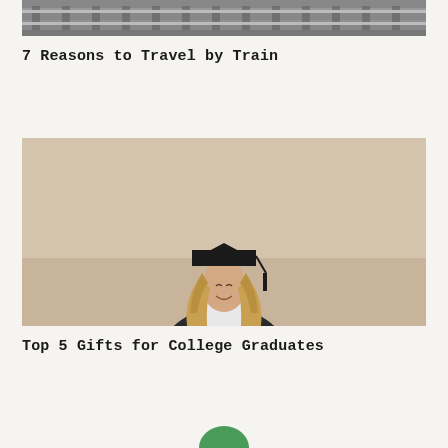[Figure (photo): Partial view of train tracks, cropped at top of page, gray tones]
7 Reasons to Travel by Train
[Figure (photo): Young woman in graduation cap and gown, smiling with eyes closed, light brown/beige background]
Top 5 Gifts for College Graduates
[Figure (other): Partial green circle visible at bottom of page]